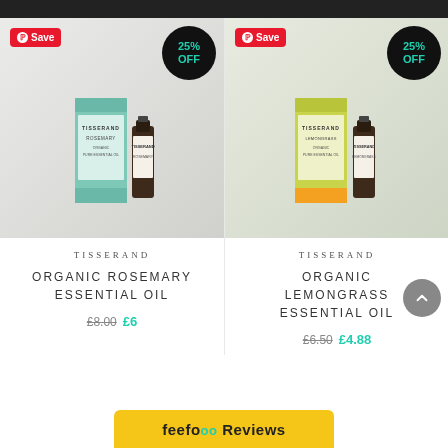[Figure (photo): Tisserand Organic Rosemary Essential Oil product with box and bottle, shown on marble surface with 25% OFF badge and Pinterest Save button]
TISSERAND
ORGANIC ROSEMARY ESSENTIAL OIL
£8.00 £6
[Figure (photo): Tisserand Organic Lemongrass Essential Oil product with box and bottle, shown on marble surface with 25% OFF badge and Pinterest Save button]
TISSERAND
ORGANIC LEMONGRASS ESSENTIAL OIL
£6.50 £4.88
feefo Reviews